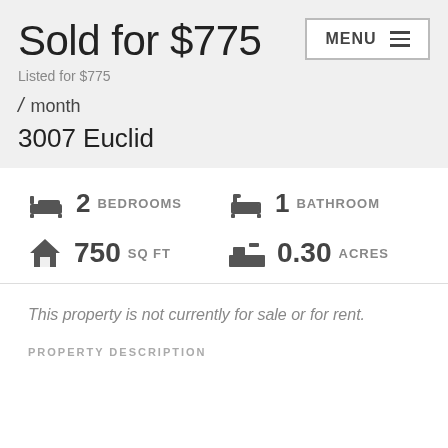Sold for $775
Listed for $775
/ month
3007 Euclid
2 BEDROOMS   1 BATHROOM   750 SQ FT   0.30 ACRES
This property is not currently for sale or for rent.
PROPERTY DESCRIPTION